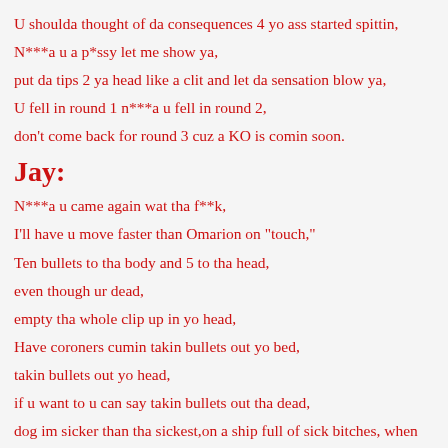U shoulda thought of da consequences 4 yo ass started spittin,
N***a u a p*ssy let me show ya,
put da tips 2 ya head like a clit and let da sensation blow ya,
U fell in round 1 n***a u fell in round 2,
don't come back for round 3 cuz a KO is comin soon.
Jay:
N***a u came again wat tha f**k,
I'll have u move faster than Omarion on "touch,"
Ten bullets to tha body and 5 to tha head,
even though ur dead,
empty tha whole clip up in yo head,
Have coroners cumin takin bullets out yo bed,
takin bullets out yo head,
if u want to u can say takin bullets out tha dead,
dog im sicker than tha sickest,on a ship full of sick bitches, when